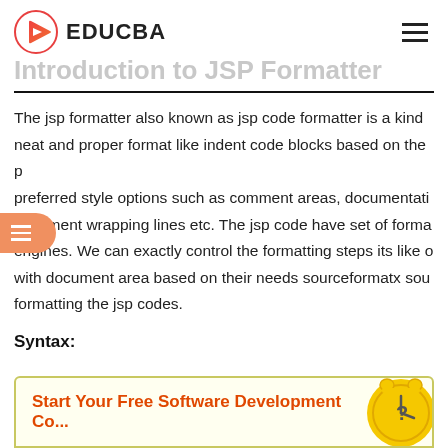EDUCBA
Introduction to JSP Formatter
The jsp formatter also known as jsp code formatter is a kind of neat and proper format like indent code blocks based on the preferred style options such as comment areas, documentation, document wrapping lines etc. The jsp code have set of formatting engines. We can exactly control the formatting steps its like with document area based on their needs sourceformatx source formatting the jsp codes.
Syntax:
Start Your Free Software Development Course